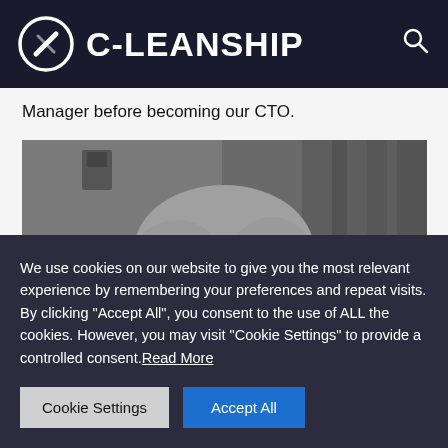C-LEANSHIP
Manager before becoming our CTO.
[Figure (photo): Black and white portrait photo of a man with short blonde hair, looking at the camera, appearing to be in an industrial or workshop setting.]
We use cookies on our website to give you the most relevant experience by remembering your preferences and repeat visits. By clicking "Accept All", you consent to the use of ALL the cookies. However, you may visit "Cookie Settings" to provide a controlled consent. Read More